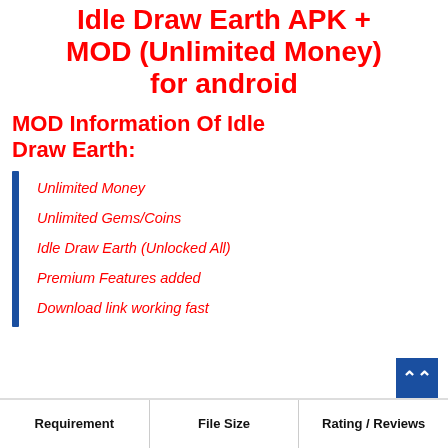Idle Draw Earth APK + MOD (Unlimited Money) for android
MOD Information Of Idle Draw Earth:
Unlimited Money
Unlimited Gems/Coins
Idle Draw Earth (Unlocked All)
Premium Features added
Download link working fast
| Requirement | File Size | Rating / Reviews |
| --- | --- | --- |